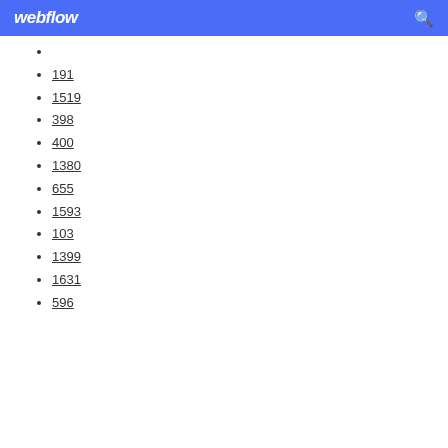webflow
191
1519
398
400
1380
655
1593
103
1399
1631
596